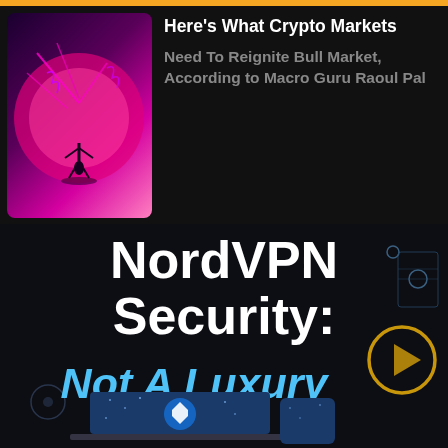[Figure (screenshot): Article card with thumbnail image showing a fantasy/anime figure silhouetted against a pink glowing moon, and article text about crypto markets]
Here's What Crypto Markets
Need To Reignite Bull Market, According to Macro Guru Raoul Pal
NordVPN Security:
Not A Luxury
[Figure (screenshot): NordVPN advertisement showing a laptop and phone with the NordVPN shield logo on a blue starry background]